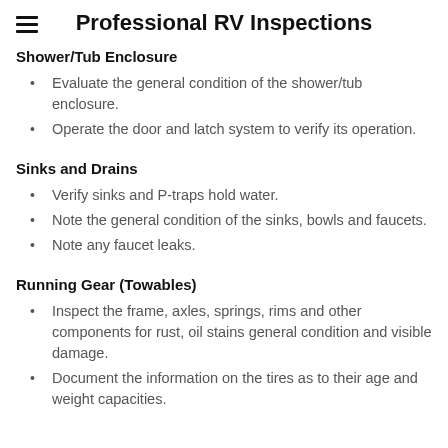Professional RV Inspections
Shower/Tub Enclosure
Evaluate the general condition of the shower/tub enclosure.
Operate the door and latch system to verify its operation.
Sinks and Drains
Verify sinks and P-traps hold water.
Note the general condition of the sinks, bowls and faucets.
Note any faucet leaks.
Running Gear (Towables)
Inspect the frame, axles, springs, rims and other components for rust, oil stains general condition and visible damage.
Document the information on the tires as to their age and weight capacities.